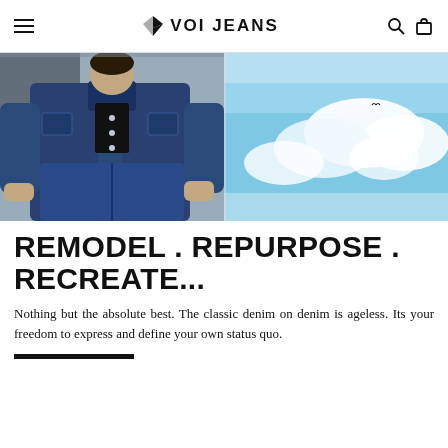VOI JEANS
[Figure (photo): Two-panel hero image: left panel shows a man wearing a dark denim jacket and jeans crouching; right panel shows a blue sky with clouds and a bird.]
REMODEL . REPURPOSE . RECREATE...
Nothing but the absolute best. The classic denim on denim is ageless. Its your freedom to express and define your own status quo.